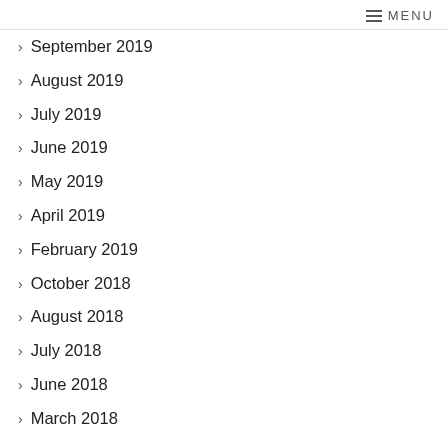MENU
September 2019
August 2019
July 2019
June 2019
May 2019
April 2019
February 2019
October 2018
August 2018
July 2018
June 2018
March 2018